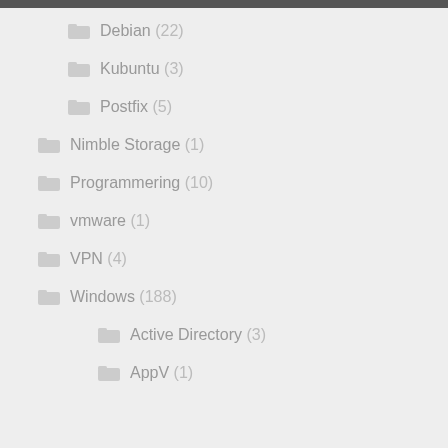Debian (22)
Kubuntu (3)
Postfix (5)
Nimble Storage (1)
Programmering (10)
vmware (1)
VPN (4)
Windows (188)
Active Directory (3)
AppV (1)